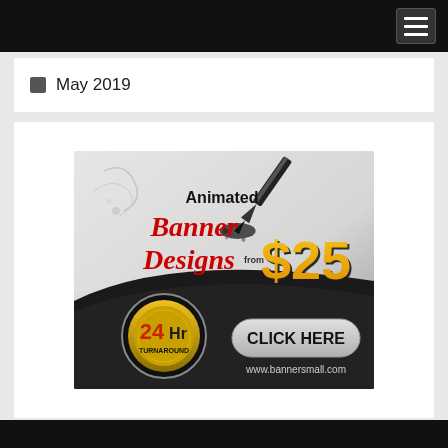May 2019
[Figure (illustration): Advertisement for Bannersmall.com showing 'Animated Banner Designs from $25, 24 Hr Turnaround, CLICK HERE, www.bannersmall.com' with a pen/ink graphic]